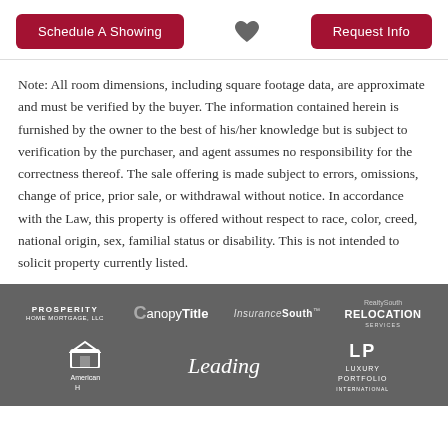Schedule A Showing | [heart] | Request Info
Note: All room dimensions, including square footage data, are approximate and must be verified by the buyer. The information contained herein is furnished by the owner to the best of his/her knowledge but is subject to verification by the purchaser, and agent assumes no responsibility for the correctness thereof. The sale offering is made subject to errors, omissions, change of price, prior sale, or withdrawal without notice. In accordance with the Law, this property is offered without respect to race, color, creed, national origin, sex, familial status or disability. This is not intended to solicit property currently listed.
Partner logos: Prosperity Home Mortgage LLC, Canopy Title, InsuranceSouth, RealtySouth Relocation Services, American Home, Leading, Luxury Portfolio International